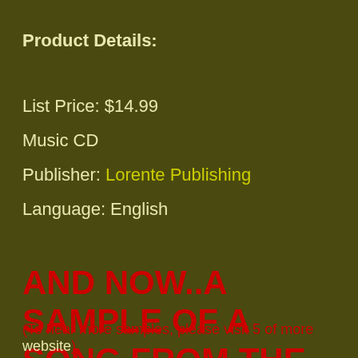Product Details:
List Price: $14.99
Music CD
Publisher: Lorente Publishing
Language: English
AND NOW..A SAMPLE OF A SONG FROM THE CD:
(To hear more samples, please visit 5 of more website)